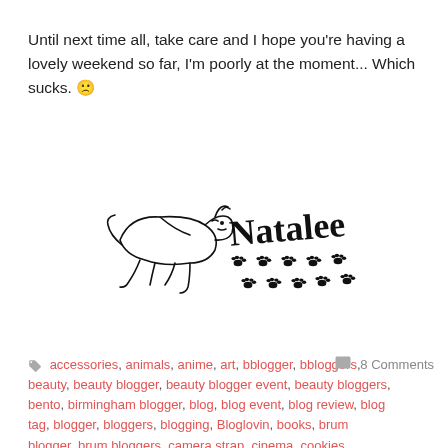Until next time all, take care and I hope you're having a lovely weekend so far, I'm poorly at the moment... Which sucks. 🙁
[Figure (illustration): Hand-drawn signature illustration showing a running cat/animal outline on the left with 'Natalee' written in cursive handwriting, and small paw prints trailing to the right beneath the name.]
🏷 accessories, animals, anime, art, bblogger, bbloggers, beauty, beauty blogger, beauty blogger event, beauty bloggers, bento, birmingham blogger, blog, blog event, blog review, blog tag, blogger, bloggers, blogging, Bloglovin, books, brum blogger, brum bloggers, camera strap, cinema, cookies, coventry geeks, cyndaquil, dragonite, dratini, driving, dvd, eevee, eeveelution, eeveelutons, entertainment,
💬 8 Comments